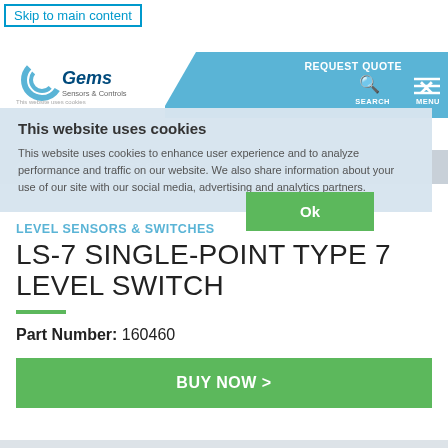Skip to main content
REQUEST QUOTE
[Figure (logo): Gems Sensors & Controls logo with blue swoosh icon]
This website uses cookies
This website uses cookies to enhance user experience and to analyze performance and traffic on our website. We also share information about your use of our site with our social media, advertising and analytics partners.
Ok
< BACK TO PRODUCT SEARCH
LEVEL SENSORS & SWITCHES
LS-7 SINGLE-POINT TYPE 7 LEVEL SWITCH
Part Number: 160460
BUY NOW >